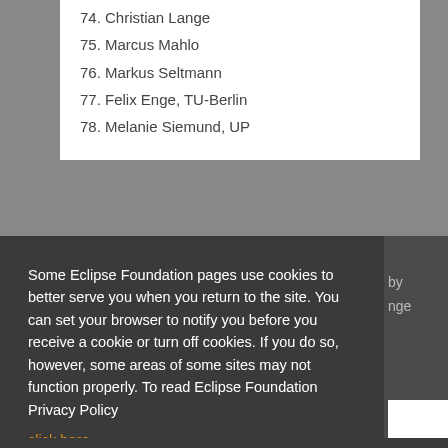74. Christian Lange
75. Marcus Mahlo
76. Markus Seltmann
77. Felix Enge, TU-Berlin
78. Melanie Siemund, UP
Some Eclipse Foundation pages use cookies to better serve you when you return to the site. You can set your browser to notify you before you receive a cookie or turn off cookies. If you do so, however, some areas of some sites may not function properly. To read Eclipse Foundation Privacy Policy click here.